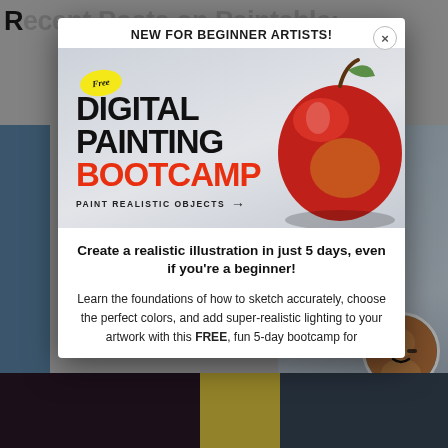Recent Posts on Paintable:
NEW FOR BEGINNER ARTISTS!
[Figure (illustration): Advertisement banner for Free Digital Painting Bootcamp featuring a large red apple on a gray background with text: FREE badge (yellow oval), DIGITAL PAINTING in black, BOOTCAMP in red, PAINT REALISTIC OBJECTS with arrow]
Create a realistic illustration in just 5 days, even if you're a beginner!
Learn the foundations of how to sketch accurately, choose the perfect colors, and add super-realistic lighting to your artwork with this FREE, fun 5-day bootcamp for